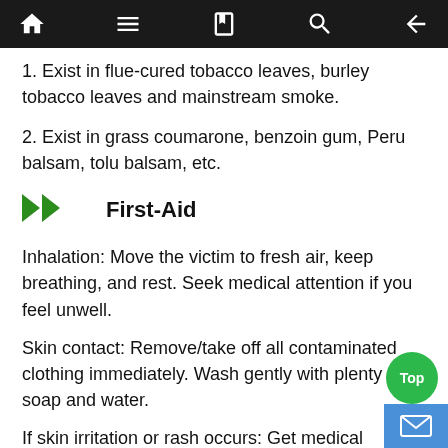navigation bar with home, menu, book, search, and back icons
1. Exist in flue-cured tobacco leaves, burley tobacco leaves and mainstream smoke.
2. Exist in grass coumarone, benzoin gum, Peru balsam, tolu balsam, etc.
First-Aid
Inhalation: Move the victim to fresh air, keep breathing, and rest. Seek medical attention if you feel unwell.
Skin contact: Remove/take off all contaminated clothing immediately. Wash gently with plenty of soap and water.
If skin irritation or rash occurs: Get medical advice/attention.
Eye contact: Wash carefully with water for several minutes. If it is convenient and easy to operate, remo...